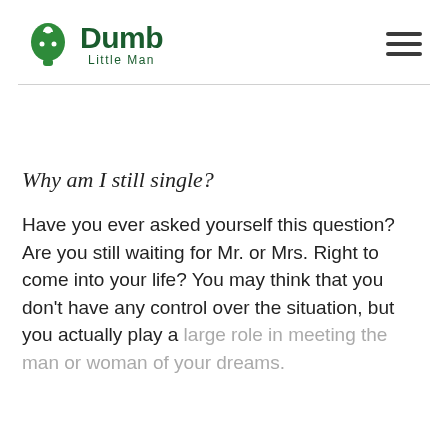[Figure (logo): Dumb Little Man logo with green head/puzzle icon and green text reading 'Dumb Little Man']
Why am I still single?
Have you ever asked yourself this question? Are you still waiting for Mr. or Mrs. Right to come into your life? You may think that you don't have any control over the situation, but you actually play a large role in meeting the man or woman of your dreams.